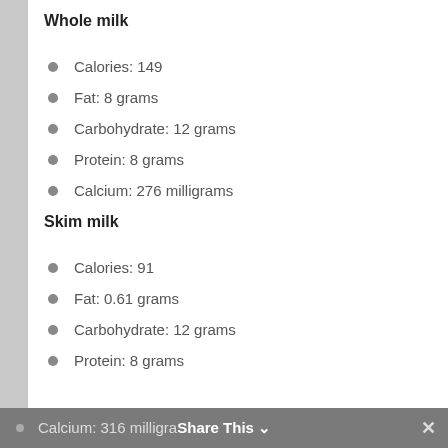Whole milk
Calories: 149
Fat: 8 grams
Carbohydrate: 12 grams
Protein: 8 grams
Calcium: 276 milligrams
Skim milk
Calories: 91
Fat: 0.61 grams
Carbohydrate: 12 grams
Protein: 8 grams
Calcium: 316 milligrams
Calcium: 316 milligra  Share This  ✕